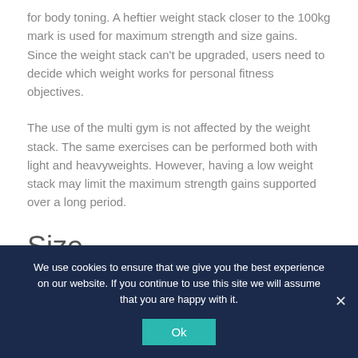for body toning. A heftier weight stack closer to the 100kg mark is used for maximum strength and size gains. Since the weight stack can't be upgraded, users need to decide which weight works for personal fitness objectives.
The use of the multi gym is not affected by the weight stack. The same exercises can be performed both with light and heavyweights. However, having a low weight stack may limit the maximum strength gains supported over a long period.
Size
The size of a multi gym is measured in length (or depth) and
We use cookies to ensure that we give you the best experience on our website. If you continue to use this site we will assume that you are happy with it.